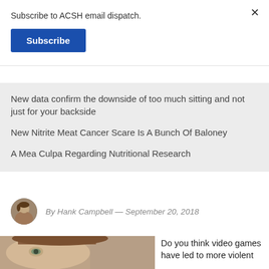Subscribe to ACSH email dispatch.
Subscribe
New data confirm the downside of too much sitting and not just for your backside
New Nitrite Meat Cancer Scare Is A Bunch Of Baloney
A Mea Culpa Regarding Nutritional Research
By Hank Campbell — September 20, 2018
[Figure (photo): Author avatar portrait photo of Hank Campbell]
[Figure (photo): Close-up photo of a child's face]
Do you think video games have led to more violent